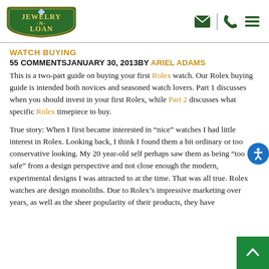[Figure (logo): Jewelry N Loan logo — green shield/crest shape with gold text 'JEWELRY N LOAN' and a diamond icon]
[Figure (infographic): Navigation icons: envelope, vertical divider, phone handset, hamburger menu — all in dark green]
WATCH BUYING
55 COMMENTSJANUARY 30, 2013BY ARIEL ADAMS
This is a two-part guide on buying your first Rolex watch. Our Rolex buying guide is intended both novices and seasoned watch lovers. Part 1 discusses when you should invest in your first Rolex, while Part 2 discusses what specific Rolex timepiece to buy.
True story: When I first became interested in “nice” watches I had little interest in Rolex. Looking back, I think I found them a bit ordinary or too conservative looking. My 20 year-old self perhaps saw them as being “too safe” from a design perspective and not close enough the modern, experimental designs I was attracted to at the time. That was all true. Rolex watches are design monoliths. Due to Rolex’s impressive marketing over years, as well as the sheer popularity of their products, they have